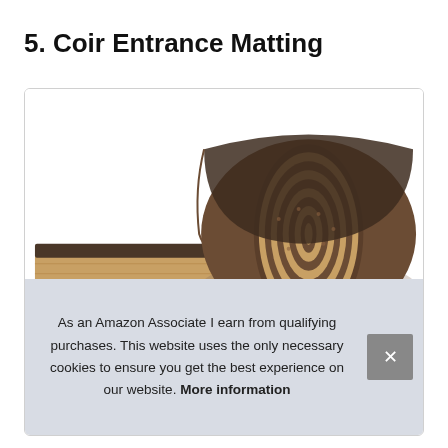5. Coir Entrance Matting
[Figure (photo): A rolled-up coir entrance matting roll shown from the side, revealing the fibrous brown texture and dark backing, photographed on a white background.]
As an Amazon Associate I earn from qualifying purchases. This website uses the only necessary cookies to ensure you get the best experience on our website. More information